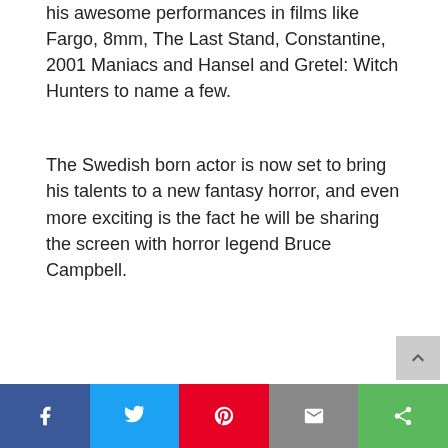his awesome performances in films like Fargo, 8mm, The Last Stand, Constantine, 2001 Maniacs and Hansel and Gretel: Witch Hunters to name a few.
The Swedish born actor is now set to bring his talents to a new fantasy horror, and even more exciting is the fact he will be sharing the screen with horror legend Bruce Campbell.